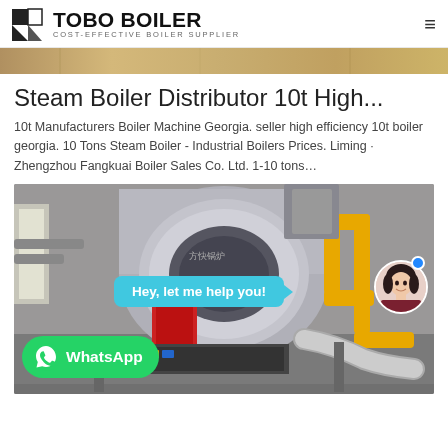TOBO BOILER — COST-EFFECTIVE BOILER SUPPLIER
[Figure (photo): Partial top image strip showing industrial boiler scene]
Steam Boiler Distributor 10t High...
10t Manufacturers Boiler Machine Georgia. seller high efficiency 10t boiler georgia. 10 Tons Steam Boiler - Industrial Boilers Prices. Liming · Zhengzhou Fangkuai Boiler Sales Co. Ltd. 1-10 tons…
[Figure (photo): Industrial steam boiler in a factory/warehouse setting, large cylindrical boiler with yellow gas pipes, red door panel, Chinese text on boiler, WhatsApp button overlay and chat bubble 'Hey, let me help you!' with agent avatar]